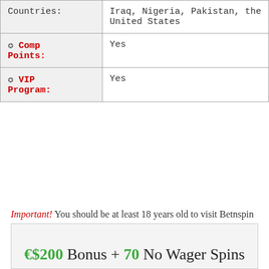| Countries: | Iraq, Nigeria, Pakistan, the United States |
| ✪ Comp Points: | Yes |
| ✪ VIP Program: | Yes |
Important! You should be at least 18 years old to visit Betnspin Casino. If you have a gambling addiction, please visit begambleaware.org
€$200 Bonus + 70 No Wager Spins